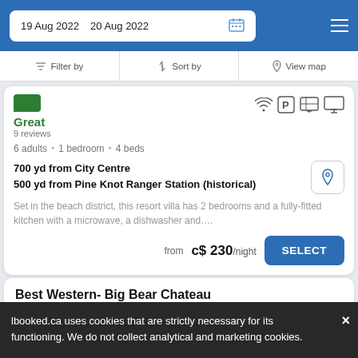19 Aug 2022  20 Aug 2022
Filter by  Sort by  View map
Great
9 reviews
6 adults • 1 bedroom • 4 beds
700 yd from City Centre
500 yd from Pine Knot Ranger Station (historical)
Set in the beach district, this resort villa has 2 bedrooms and a fully-fitted kitchen with a microwave, a dishwasher and….
from  c$ 230/night
Best Western- Big Bear Chateau
lbooked.ca uses cookies that are strictly necessary for its functioning. We do not collect analytical and marketing cookies.